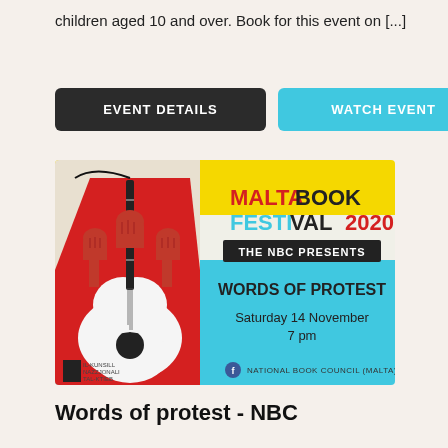children aged 10 and over. Book for this event on [...]
EVENT DETAILS
WATCH EVENT
[Figure (illustration): Malta Book Festival 2020 promotional poster showing a guitar with raised fists illustration on a red, yellow, and cyan background. Text reads: MALTA BOOK FESTIVAL 2020, THE NBC PRESENTS, WORDS OF PROTEST, Saturday 14 November, 7 pm, National Book Council (Malta)]
Words of protest - NBC